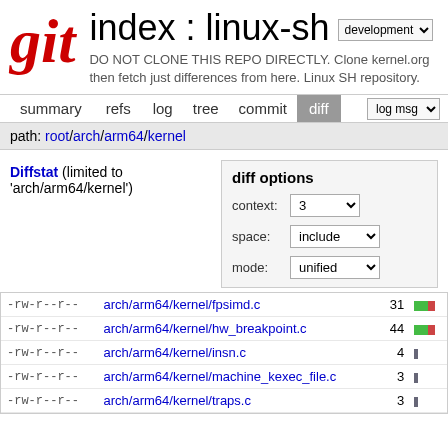[Figure (logo): Git logo - stylized red italic 'git' text]
index : linux-sh
DO NOT CLONE THIS REPO DIRECTLY. Clone kernel.org then fetch just differences from here. Linux SH repository.
summary  refs  log  tree  commit  diff  |  log msg
path: root/arch/arm64/kernel
Diffstat (limited to 'arch/arm64/kernel')
diff options context: 3 space: include mode: unified
| permissions | filename | count | bar |
| --- | --- | --- | --- |
| -rw-r--r-- | arch/arm64/kernel/fpsimd.c | 31 | green+red |
| -rw-r--r-- | arch/arm64/kernel/hw_breakpoint.c | 44 | green+red |
| -rw-r--r-- | arch/arm64/kernel/insn.c | 4 | indicator |
| -rw-r--r-- | arch/arm64/kernel/machine_kexec_file.c | 3 | indicator |
| -rw-r--r-- | arch/arm64/kernel/traps.c | 3 | indicator |